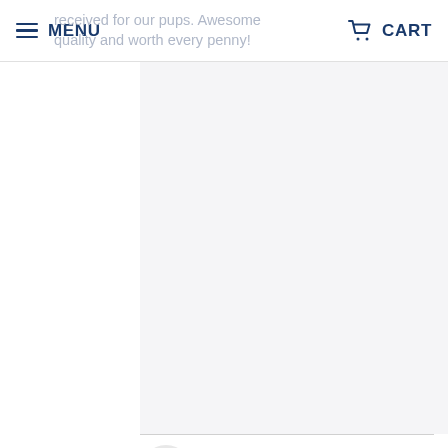MENU  received for our pups. Awesome quality and worth every penny!  CART
[Figure (photo): Product image placeholder area (white/light gray background)]
C
11/13/2021  Verified  Cindy Brock
Great elk antlers & Bully Sticks ! My dog 🐾 has never been so happy and entertained . He LOVES them ! he can't put them down ! He's an 8 year old Chocolate Lab , found out about Natural Hound while I was visiting my mom in Portland OR from Las Vegas NV , got them at zupan's & he went crazy over Bully sticks I brought home , so had to